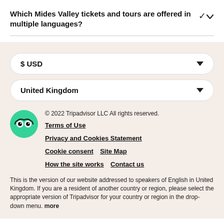Which Mides Valley tickets and tours are offered in multiple languages?
$ USD
United Kingdom
© 2022 Tripadvisor LLC All rights reserved. Terms of Use Privacy and Cookies Statement Cookie consent Site Map How the site works Contact us This is the version of our website addressed to speakers of English in United Kingdom. If you are a resident of another country or region, please select the appropriate version of Tripadvisor for your country or region in the drop-down menu. more